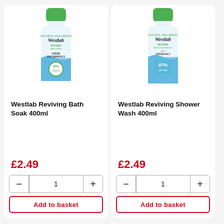[Figure (photo): Westlab Reviving Bath Soak 400ml bottle with green cap, white body, blue accent, Epsom Salt Minerals label, 0% badge]
Westlab Reviving Bath Soak 400ml
£2.49
Add to basket
[Figure (photo): Westlab Reviving Shower Wash 400ml bottle with green cap, white body, blue accent, Epsom Salt label, 97% Natural badge]
Westlab Reviving Shower Wash 400ml
£2.49
Add to basket